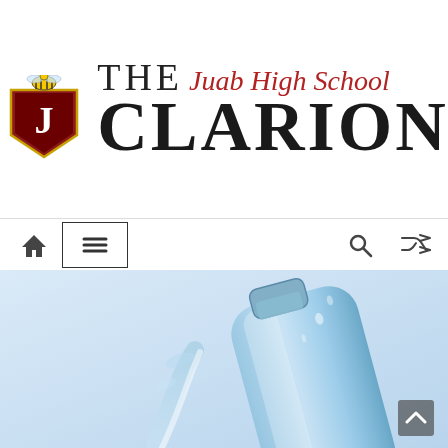[Figure (logo): Juab High School Clarion newspaper logo with bee mascot and school shield, text reads 'THE Juab High School CLARION']
[Figure (other): Navigation bar with home icon, hamburger menu button in box, search icon, and shuffle/random icon]
[Figure (photo): Photo of a large plastic water bottle being tilted to pour water, on a light blue background]